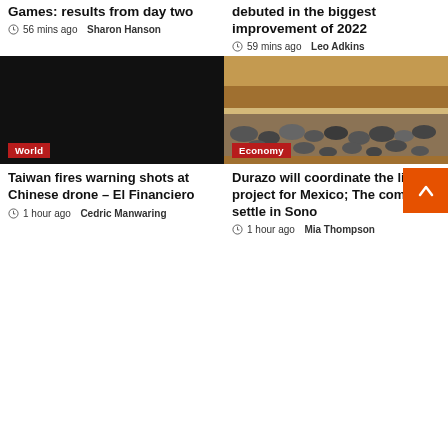Games: results from day two
56 mins ago  Sharon Hanson
debuted in the biggest improvement of 2022
59 mins ago  Leo Adkins
[Figure (photo): Dark/black image with a World category tag in red at the bottom left]
[Figure (photo): Rocks and rubble on sandy/orange soil, Economy category tag in red at the bottom left]
Taiwan fires warning shots at Chinese drone – El Financiero
1 hour ago  Cedric Manwaring
Durazo will coordinate the lithium project for Mexico; The comp will settle in Sono
1 hour ago  Mia Thompson